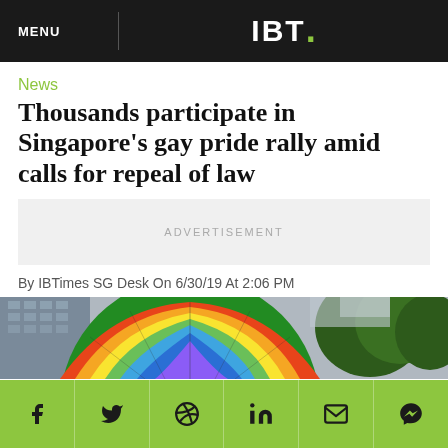MENU | IBT.
News
Thousands participate in Singapore's gay pride rally amid calls for repeal of law
ADVERTISEMENT
By IBTimes SG Desk On 6/30/19 At 2:06 PM
[Figure (photo): Rainbow umbrella photo with trees in background]
Social share bar: Facebook, Twitter, WhatsApp, LinkedIn, Email, Messenger